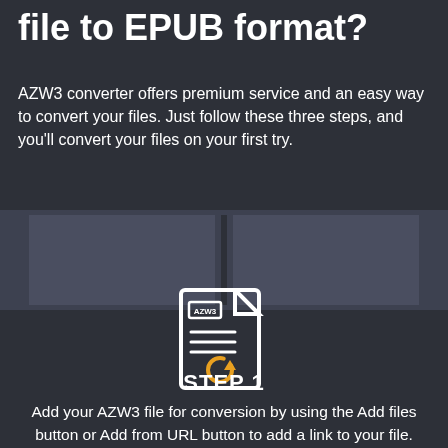file to EPUB format?
AZW3 converter offers premium service and an easy way to convert your files. Just follow these three steps, and you'll convert your files on your first try.
[Figure (screenshot): Screenshot panels showing the AZW3 to EPUB conversion interface]
[Figure (illustration): AZW3 file icon with a circular refresh/convert arrow in orange]
STEP 1
Add your AZW3 file for conversion by using the Add files button or Add from URL button to add a link to your file.